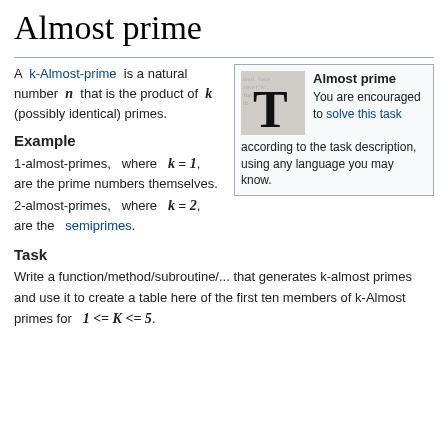Almost prime
A k-Almost-prime is a natural number n that is the product of k (possibly identical) primes.
[Figure (illustration): Infobox with a decorative T letter image and text: Almost prime. You are encouraged to solve this task according to the task description, using any language you may know.]
Example
1-almost-primes, where k = 1, are the prime numbers themselves.
2-almost-primes, where k = 2, are the semiprimes.
Task
Write a function/method/subroutine/... that generates k-almost primes and use it to create a table here of the first ten members of k-Almost primes for 1 <= K <= 5.